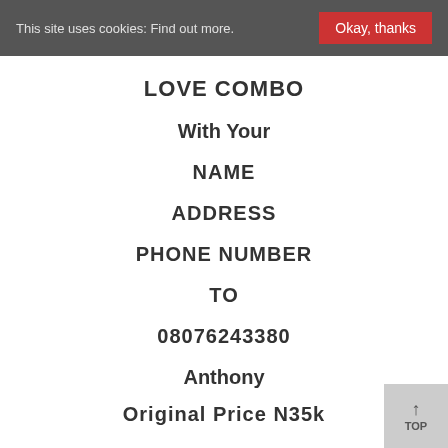This site uses cookies: Find out more.  Okay, thanks
LOVE COMBO
With Your
NAME
ADDRESS
PHONE NUMBER
TO
08076243380
Anthony
Original Price N35k